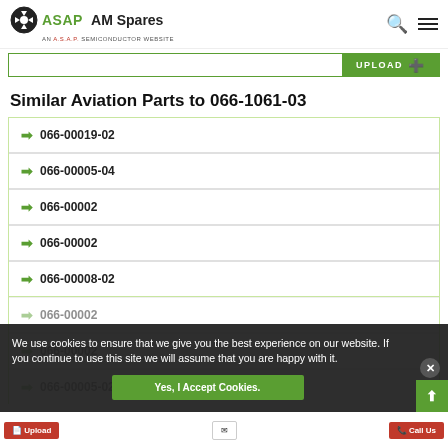[Figure (logo): ASAP AM Spares logo with radioactive/semiconductor icon, green and black text, 'AN A.S.A.P. SEMICONDUCTOR WEBSITE' tagline]
[Figure (other): Upload button bar with green UPLOAD button and arrow icon]
Similar Aviation Parts to 066-1061-03
066-00019-02
066-00005-04
066-00002
066-00002
066-00008-02
066-00002
066-00002
066-00005-02
We use cookies to ensure that we give you the best experience on our website. If you continue to use this site we will assume that you are happy with it.
Yes, I Accept Cookies.